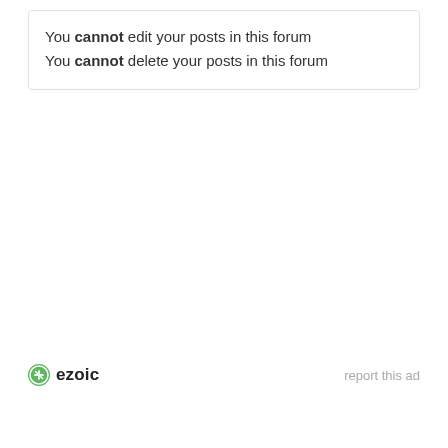You cannot edit your posts in this forum
You cannot delete your posts in this forum
[Figure (logo): Ezoic logo with circular green icon and bold 'ezoic' text, alongside 'report this ad' link in grey]